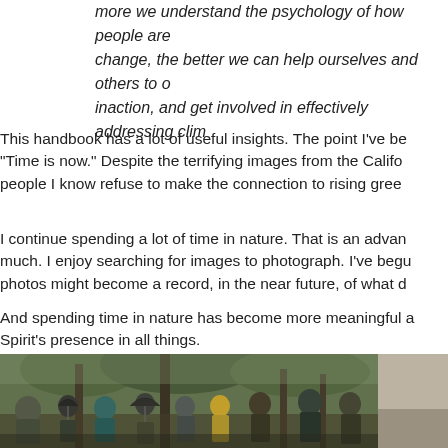more we understand the psychology of how people are affected by climate change, the better we can help ourselves and others to overcome fear and inaction, and get involved in effectively addressing clim...
This handbook has a lot of useful insights. The point I've been stressing is "Time is now." Despite the terrifying images from the California fires, people I know refuse to make the connection to rising gree...
I continue spending a lot of time in nature. That is an advantage I have much. I enjoy searching for images to photograph. I've begun to think my photos might become a record, in the near future, of what d...
And spending time in nature has become more meaningful as I sense the Spirit's presence in all things.
[Figure (photo): Group of people outdoors in a wooded area on a rainy day, many wearing rain gear and holding umbrellas, gathered under bare and leafy trees. A second partial photo is visible on the right side.]